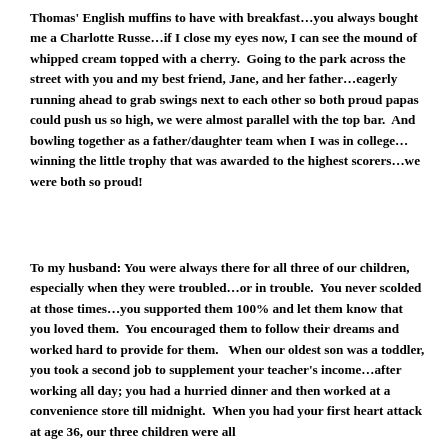Thomas' English muffins to have with breakfast…you always bought me a Charlotte Russe…if I close my eyes now, I can see the mound of whipped cream topped with a cherry.  Going to the park across the street with you and my best friend, Jane, and her father…eagerly running ahead to grab swings next to each other so both proud papas could push us so high, we were almost parallel with the top bar.  And bowling together as a father/daughter team when I was in college…winning the little trophy that was awarded to the highest scorers…we were both so proud!
To my husband: You were always there for all three of our children, especially when they were troubled…or in trouble.  You never scolded at those times…you supported them 100% and let them know that you loved them.  You encouraged them to follow their dreams and worked hard to provide for them.   When our oldest son was a toddler, you took a second job to supplement your teacher's income…after working all day; you had a hurried dinner and then worked at a convenience store till midnight.  When you had your first heart attack at age 36, our three children were all